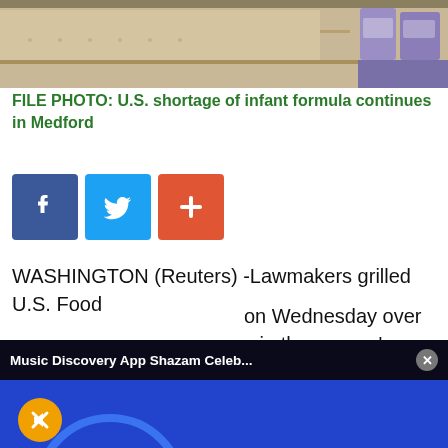[Figure (photo): Empty store shelves with a few purple infant formula cans visible on the right side]
FILE PHOTO: U.S. shortage of infant formula continues in Medford
[Figure (screenshot): Social media share buttons: Facebook (blue), Twitter (light blue), and a red plus/add button]
WASHINGTON (Reuters) -Lawmakers grilled U.S. Food and Drug Administration leaders on Wednesday over an apparent delay in the agency's response to a possible baby formula shortage tied to Abbott Laboratories plant and formula shortages.
[Figure (screenshot): Popup overlay showing Shazam music discovery app advertisement with blue background, Shazam logo, a phone mockup, mute button, close button, and header reading 'Music Discovery App Shazam Celeb...']
FDA leaders appeared before a congressional panel to
Sections  NY Edition  Philly  Games  Advertise  Sign Up